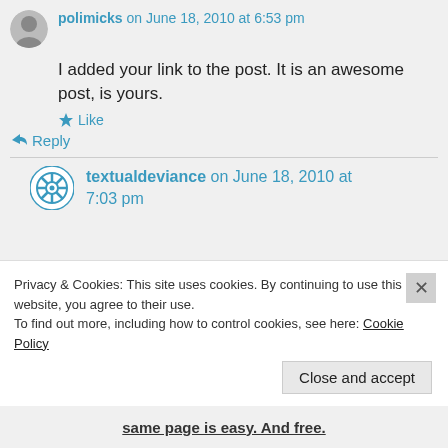polimicks on June 18, 2010 at 6:53 pm
I added your link to the post. It is an awesome post, is yours.
Like
Reply
textualdeviance on June 18, 2010 at 7:03 pm
Privacy & Cookies: This site uses cookies. By continuing to use this website, you agree to their use. To find out more, including how to control cookies, see here: Cookie Policy
Close and accept
same page is easy. And free.